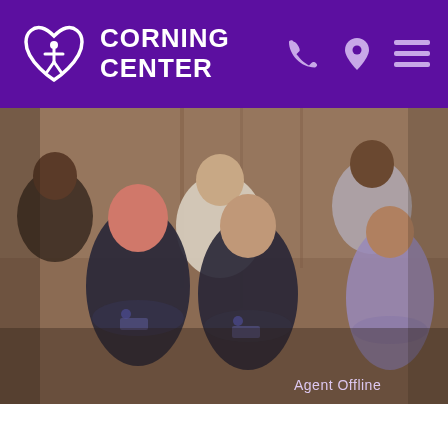CORNING CENTER
[Figure (photo): Group photo of six medical staff members (doctors and nurses) in scrubs and white lab coats, smiling with arms crossed, against a warm wooden background. Text 'Agent Offline' appears in the lower right corner.]